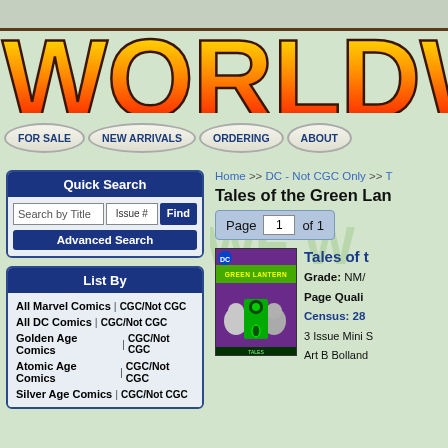WORLDWIDE C (logo, cropped)
FOR SALE | NEW ARRIVALS | ORDERING | ABOUT
Quick Search
Search by Title | Issue # | Find | Advanced Search
List By
All Marvel Comics | CGC/Not CGC
All DC Comics | CGC/Not CGC
Golden Age Comics | CGC/Not CGC
Atomic Age Comics | CGC/Not CGC
Silver Age Comics | CGC/Not CGC
Home >> DC - Not CGC Only >> T
Tales of the Green Lan
Page 1 of 1
[Figure (photo): Comic book cover of Tales of the Green Lantern with DC logo, purple background with alien characters]
Tales of t
Grade: NM/
Page Quali
Census: 28
3 Issue Mini S
Art B Bolland